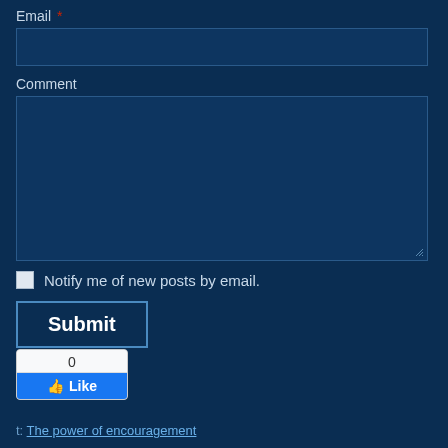Email *
Comment
Notify me of new posts by email.
Submit
[Figure (screenshot): Facebook Like widget showing count 0 and a Like button with thumbs up icon]
t: The power of encouragement